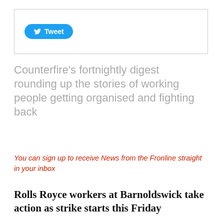[Figure (other): Twitter Tweet button in a bordered box]
Counterfire's fortnightly digest rounding up the stories of working people getting organised and fighting back
You can sign up to receive News from the Fronline straight in your inbox
Rolls Royce workers at Barnoldswick take action as strike starts this Friday